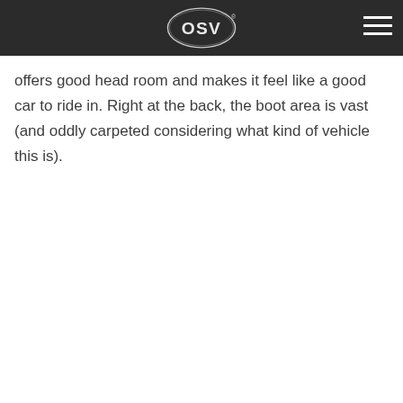OSV logo and navigation menu
offers good head room and makes it feel like a good car to ride in. Right at the back, the boot area is vast (and oddly carpeted considering what kind of vehicle this is).